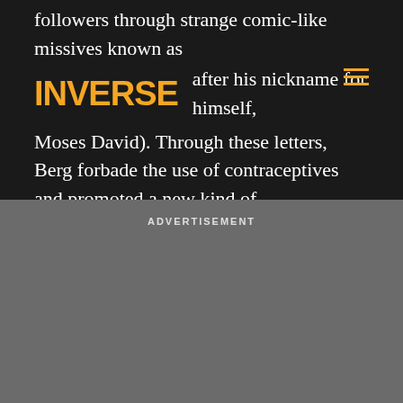followers through strange comic-like missives known as Mo Letters (named after his nickname for himself, Moses David). Through these letters, Berg forbade the use of contraceptives and promoted a new kind of evangelization — "flirty fishing," where women sought to seduce men in order to convert them.
ADVERTISEMENT